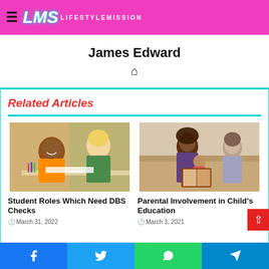IMS LIFESTYLEMISSION
James Edward
[Figure (illustration): Home icon]
Related Articles
[Figure (photo): Student (young boy in orange shirt) working with a teacher (woman with blonde hair in green top) at a desk in a classroom setting]
Student Roles Which Need DBS Checks
[Figure (photo): Parent (woman with natural hair) helping child read a book, with another adult nearby on a couch]
Parental Involvement in Child's Education
Facebook Twitter WhatsApp Telegram